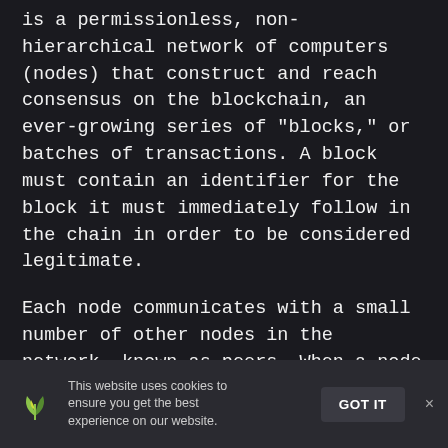is a permissionless, non-hierarchical network of computers (nodes) that construct and reach consensus on the blockchain, an ever-growing series of "blocks," or batches of transactions. A block must contain an identifier for the block it must immediately follow in the chain in order to be considered legitimate.
Each node communicates with a small number of other nodes in the network, known as peers. When a node wants to add a new transaction to the blockchain, it transmits it to its peers, who pass it on to their peers, and so on. It spreads throughout the network this manner. Miners keep track of all of these new transactions and utilize them to
This website uses cookies to ensure you get the best experience on our website. GOT IT ×